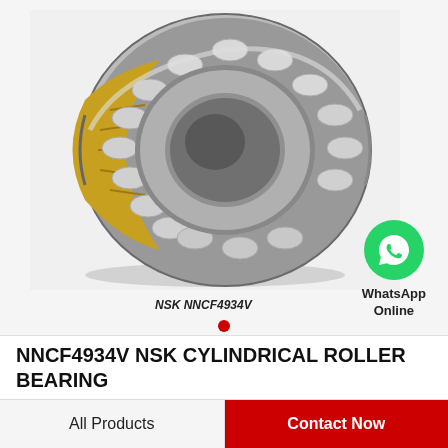[Figure (photo): NSK NNCF4934V cylindrical roller bearing — a double-row full complement cylindrical roller bearing with brass/gold-colored cage visible on the left side, silver metallic rings and rollers, viewed at a slight angle showing depth of the inner bore.]
NSK NNCF4934V
[Figure (logo): WhatsApp logo — green circle with white phone handset icon]
WhatsApp Online
NNCF4934V NSK CYLINDRICAL ROLLER BEARING
All Products | Contact Now